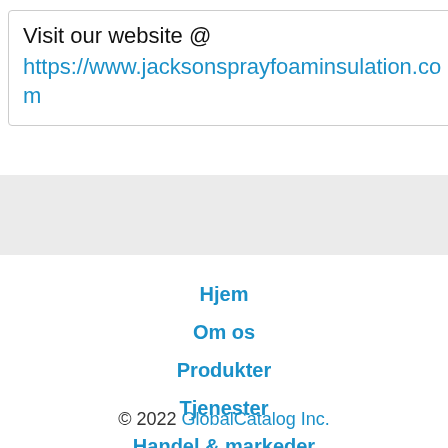Visit our website @
https://www.jacksonsprayfoaminsulation.com
Hjem
Om os
Produkter
Tjenester
Handel & markeder
Kontakt os
© 2022 GlobalCatalog Inc.